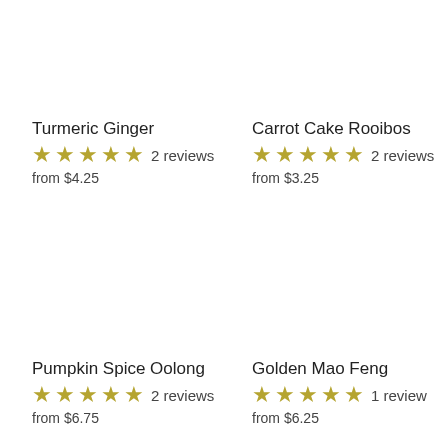Turmeric Ginger
★★★★★ 2 reviews
from $4.25
Carrot Cake Rooibos
★★★★★ 2 reviews
from $3.25
Pumpkin Spice Oolong
★★★★★ 2 reviews
from $6.75
Golden Mao Feng
★★★★★ 1 review
from $6.25